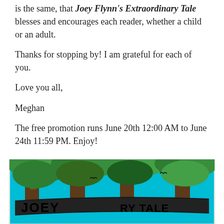is the same, that Joey Flynn's Extraordinary Tale blesses and encourages each reader, whether a child or an adult.
Thanks for stopping by! I am grateful for each of you.
Love you all,
Meghan
The free promotion runs June 20th 12:00 AM to June 24th 11:59 PM. Enjoy!
[Figure (illustration): Book cover image for 'Joey Flynn's Extraordinary Tale' showing trees with green foliage on a teal/cyan background, with text 'JOEY' and 'RY TALE' visible on a banner]